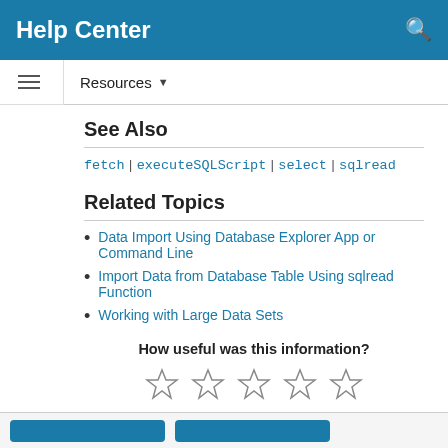Help Center
See Also
fetch | executeSQLScript | select | sqlread
Related Topics
Data Import Using Database Explorer App or Command Line
Import Data from Database Table Using sqlread Function
Working with Large Data Sets
How useful was this information?
[Figure (other): Five empty star rating icons]